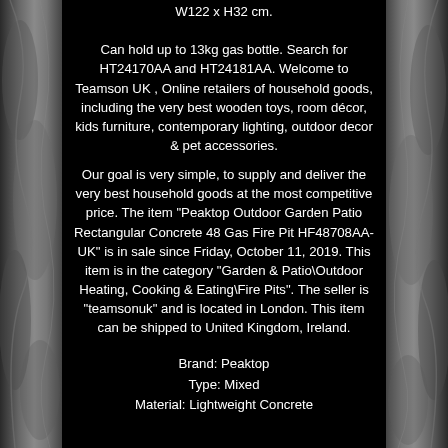W122 x H32 cm. Can hold up to 13kg gas bottle. Search for HT24170AA and HT24181AA. Welcome to Teamson UK , Online retailers of household goods, including the very best wooden toys, room décor, kids furniture, contemporary lighting, outdoor decor & pet accessories.
Our goal is very simple, to supply and deliver the very best household goods at the most competitive price. The item "Peaktop Outdoor Garden Patio Rectangular Concrete 48 Gas Fire Pit HF48708AA-UK" is in sale since Friday, October 11, 2019. This item is in the category "Garden & Patio\Outdoor Heating, Cooking & Eating\Fire Pits". The seller is "teamsonuk" and is located in London. This item can be shipped to United Kingdom, Ireland.
Brand: Peaktop
Type: Mixed
Material: Lightweight Concrete